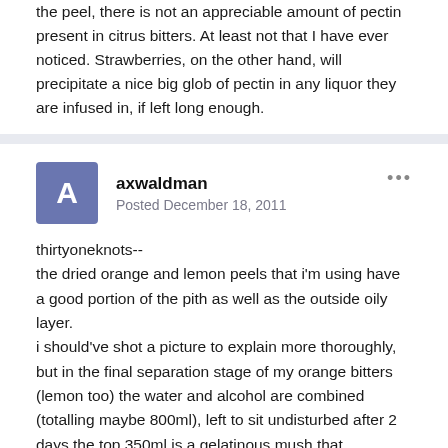the peel, there is not an appreciable amount of pectin present in citrus bitters. At least not that I have ever noticed. Strawberries, on the other hand, will precipitate a nice big glob of pectin in any liquor they are infused in, if left long enough.
axwaldman
Posted December 18, 2011
thirtyoneknots--
the dried orange and lemon peels that i'm using have a good portion of the pith as well as the outside oily layer.
i should've shot a picture to explain more thoroughly, but in the final separation stage of my orange bitters (lemon too) the water and alcohol are combined (totalling maybe 800ml), left to sit undisturbed after 2 days the top 350ml is a gelatinous mush that according to the recipe is to be skimmed off and discarded. after the layers have separated i stick the jars in the fridge overnight to set the jelly even more for easy separation.
so the question remains, if this gelatinous material is not pectin then what is it?